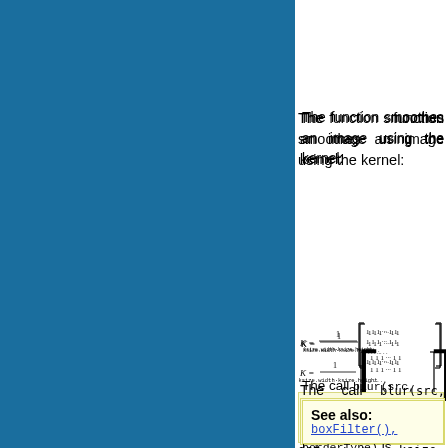[Figure (other): Blue decorative panel occupying the left portion of the page]
The function smoothes an image using the kernel:
The call blur(src, dst, ksize, anchor, borderType) is equivalent to boxFilter(src, dst, src.type(), anchor, true, borderType).
See also: boxFilter().